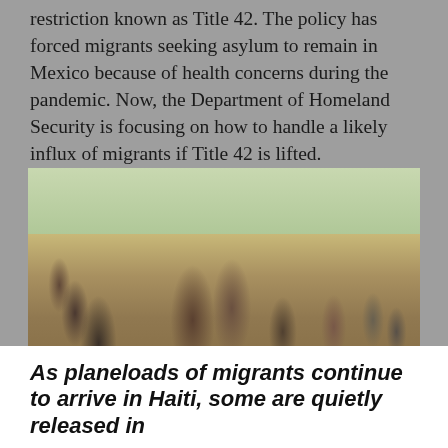restriction known as Title 42. The policy has forced migrants seeking asylum to remain in Mexico because of health concerns during the pandemic. Now, the Department of Homeland Security is focusing on how to handle a likely influx of migrants if Title 42 is lifted.
[Figure (photo): Border patrol agents on horseback confronting Haitian migrants at the US-Mexico border. Several migrants including adults and children are visible, with a grassy/dry terrain background. An overlay banner reads 'News You Need to Know'.]
As planeloads of migrants continue to arrive in Haiti, some are quietly released in